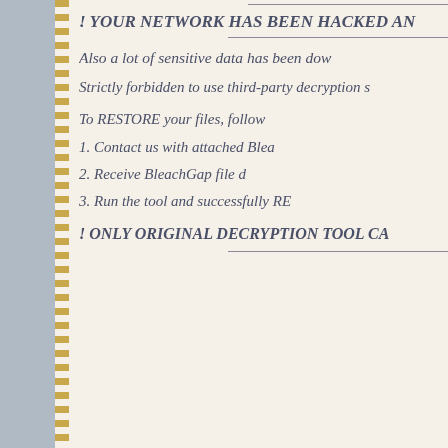! YOUR NETWORK HAS BEEN HACKED AN
Also a lot of sensitive data has been dow
Strictly forbidden to use third-party decryption s
To RESTORE your files, follow
1. Contact us with attached Blea
2. Receive BleachGap file d
3. Run the tool and successfully RE
! ONLY ORIGINAL DECRYPTION TOOL CA